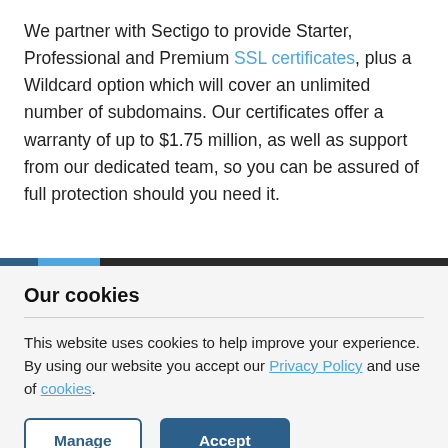We partner with Sectigo to provide Starter, Professional and Premium SSL certificates, plus a Wildcard option which will cover an unlimited number of subdomains. Our certificates offer a warranty of up to $1.75 million, as well as support from our dedicated team, so you can be assured of full protection should you need it.
Our cookies
This website uses cookies to help improve your experience. By using our website you accept our Privacy Policy and use of cookies.
Manage | Accept